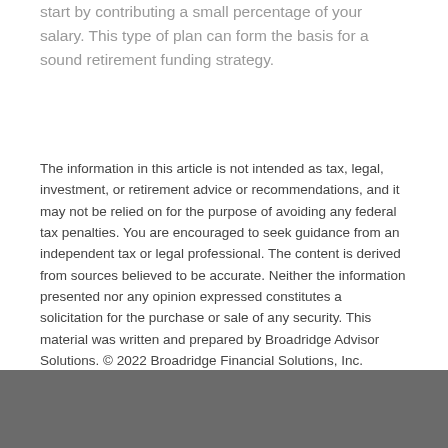start by contributing a small percentage of your salary. This type of plan can form the basis for a sound retirement funding strategy.
The information in this article is not intended as tax, legal, investment, or retirement advice or recommendations, and it may not be relied on for the purpose of avoiding any federal tax penalties. You are encouraged to seek guidance from an independent tax or legal professional. The content is derived from sources believed to be accurate. Neither the information presented nor any opinion expressed constitutes a solicitation for the purchase or sale of any security. This material was written and prepared by Broadridge Advisor Solutions. © 2022 Broadridge Financial Solutions, Inc.